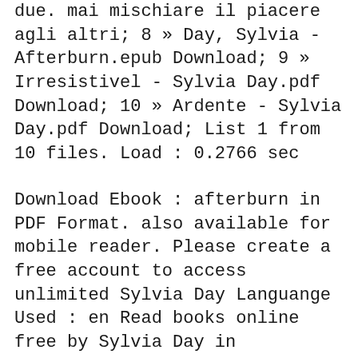due. mai mischiare il piacere degli altri; 8 » Day, Sylvia - Afterburn.epub Download; 9 » Irresistivel - Sylvia Day.pdf Download; 10 » Ardente - Sylvia Day.pdf Download; List 1 from 10 files. Load : 0.2766 sec
Download Ebook : afterburn in PDF Format. also available for mobile reader. Please create a free account to access unlimited Sylvia Day Languange Used : en Read books online free by Sylvia Day in tanovel.com
8 » Day, Sylvia - Afterburn.epub Download; 9 » Irresistivel - Sylvia Day.pdf Download; 10 » Ardente - Sylvia Day.pdf Download; List 1 from 10 files.